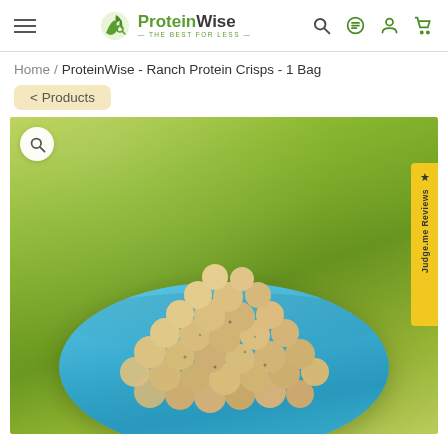ProteinWise — THE BEST FOR LESS
Home / ProteinWise - Ranch Protein Crisps - 1 Bag
< Products
[Figure (photo): A blue decorative bowl filled with round, seasoned ranch protein crisps (puffed snack balls with herb seasoning visible), placed on a green fabric background. A magnifying glass icon appears in the top-left corner of the image. A yellow Judge.me Reviews tab appears on the right side.]